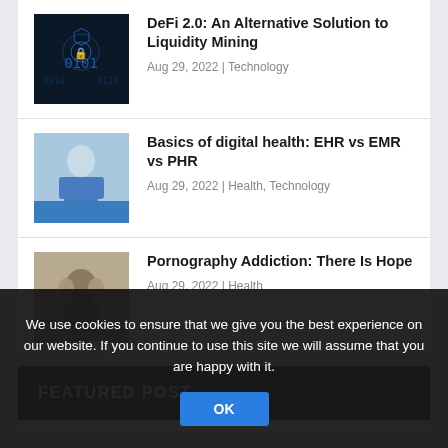[Figure (other): Thumbnail image for DeFi article - dark blue digital/matrix style background]
DeFi 2.0: An Alternative Solution to Liquidity Mining
Aug 29, 2022 | Technology
[Figure (photo): Thumbnail image for digital health article - medical professional in blue scrubs with blue bar at bottom]
Basics of digital health: EHR vs EMR vs PHR
Aug 29, 2022 | Health, Technology
[Figure (photo): Thumbnail image for pornography addiction article - person with head in hands]
Pornography Addiction: There Is Hope
Aug 29, 2022 | Health
FEATURED POST
We use cookies to ensure that we give you the best experience on our website. If you continue to use this site we will assume that you are happy with it.